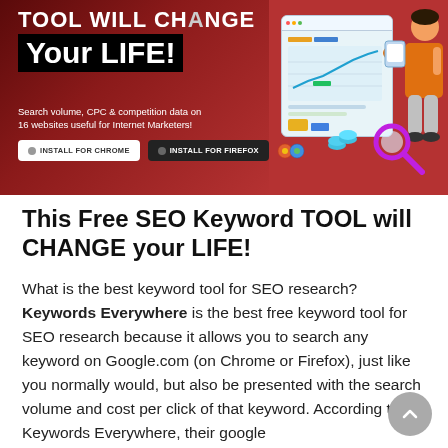[Figure (illustration): Banner advertisement for Keywords Everywhere SEO tool. Red/dark background with bold white text 'TOOL will CHANGE Your LIFE!', subtitle 'Search volume, CPC & competition data on 16 websites useful for Internet Marketers!', two buttons 'INSTALL FOR CHROME' and 'INSTALL FOR FIREFOX', browser/chart illustration and person graphic on right side.]
This Free SEO Keyword TOOL will CHANGE your LIFE!
What is the best keyword tool for SEO research? Keywords Everywhere is the best free keyword tool for SEO research because it allows you to search any keyword on Google.com (on Chrome or Firefox), just like you normally would, but also be presented with the search volume and cost per click of that keyword. According to Keywords Everywhere, their google